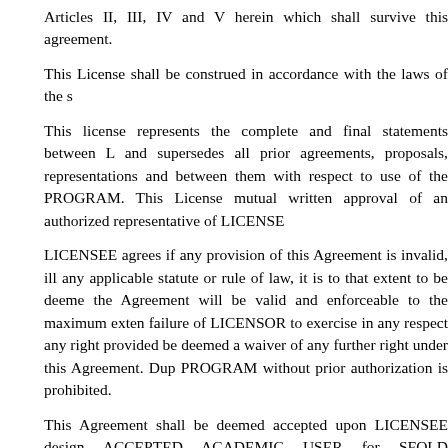Articles II, III, IV and V herein which shall survive this agreement.
This License shall be construed in accordance with the laws of the s
This license represents the complete and final statements between L and supersedes all prior agreements, proposals, representations and between them with respect to use of the PROGRAM. This License mutual written approval of an authorized representative of LICENSE
LICENSEE agrees if any provision of this Agreement is invalid, ill any applicable statute or rule of law, it is to that extent to be deeme the Agreement will be valid and enforceable to the maximum exten failure of LICENSOR to exercise in any respect any right provided be deemed a waiver of any further right under this Agreement. Dup PROGRAM without prior authorization is prohibited.
This Agreement shall be deemed accepted upon LICENSEE design ACCEPTED ACADEMIC USER for SFOLD EXECUTABLE CO which acknowledges Agreement was read and understood by LICE
IMPORTANT: Use of Sfold Executable Code under the SFOLD LICENSE AGREEMENT FOR ACADEMIC USERS is restricted to internal research use only. COMMERCIAL use requires a separate LICENSE which may be requested by contacting Robert L Gal